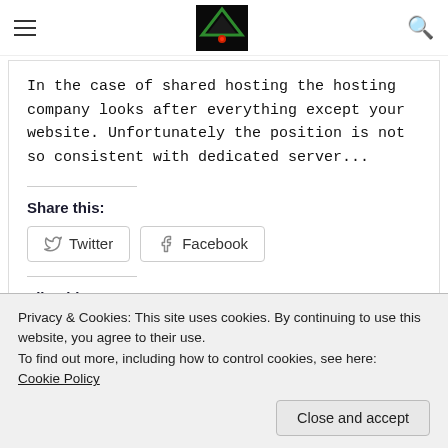Navigation header with hamburger menu, logo, and search icon
In the case of shared hosting the hosting company looks after everything except your website. Unfortunately the position is not so consistent with dedicated server...
Share this:
Twitter  Facebook
Like this:
Privacy & Cookies: This site uses cookies. By continuing to use this website, you agree to their use.
To find out more, including how to control cookies, see here:
Cookie Policy
Close and accept